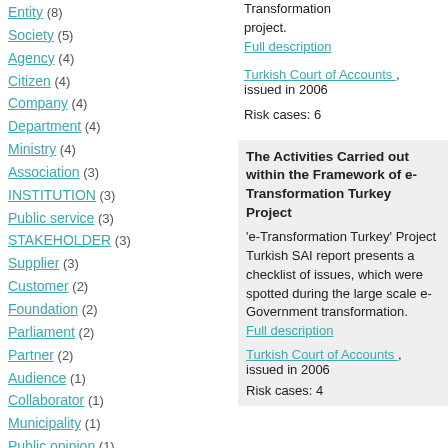Entity (8)
Society (5)
Agency (4)
Citizen (4)
Company (4)
Department (4)
Ministry (4)
Association (3)
INSTITUTION (3)
Public service (3)
STAKEHOLDER (3)
Supplier (3)
Customer (2)
Foundation (2)
Parliament (2)
Partner (2)
Audience (1)
Collaborator (1)
Municipality (1)
Public opinion (1)
Taxpayer (1)
Country
Turkey (2)
United States of America (2)
Transformation project. Full description
Turkish Court of Accounts , issued in 2006
Risk cases: 6
The Activities Carried out within the Framework of e-Transformation Turkey Project 'e-Transformation Turkey' Project Turkish SAI report presents a checklist of issues, which were spotted during the large scale e-Government transformation. Full description
Turkish Court of Accounts , issued in 2006
Risk cases: 4